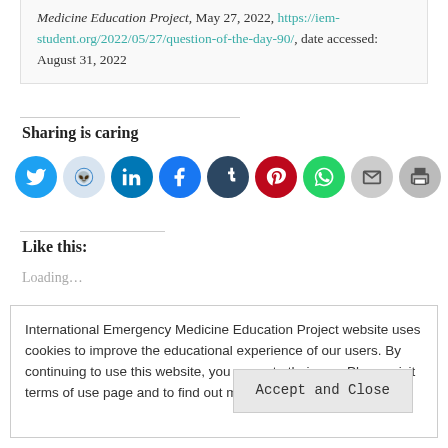Medicine Education Project, May 27, 2022, https://iem-student.org/2022/05/27/question-of-the-day-90/, date accessed: August 31, 2022
Sharing is caring
[Figure (infographic): Row of social sharing icon buttons: Twitter, Reddit, LinkedIn, Facebook, Tumblr, Pinterest, WhatsApp, Email, Print]
Like this:
Loading...
International Emergency Medicine Education Project website uses cookies to improve the educational experience of our users. By continuing to use this website, you agree to their use. Please visit terms of use page and to find out more, see here: Policy